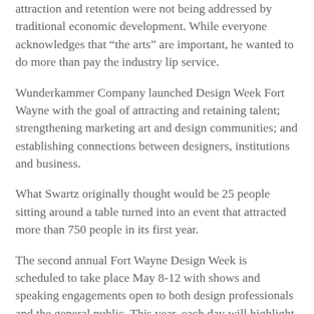attraction and retention were not being addressed by traditional economic development. While everyone acknowledges that “the arts” are important, he wanted to do more than pay the industry lip service.
Wunderkammer Company launched Design Week Fort Wayne with the goal of attracting and retaining talent; strengthening marketing art and design communities; and establishing connections between designers, institutions and business.
What Swartz originally thought would be 25 people sitting around a table turned into an event that attracted more than 750 people in its first year.
The second annual Fort Wayne Design Week is scheduled to take place May 8-12 with shows and speaking engagements open to both design professionals and the general public. This year, each day will highlight one of five industries of design: advertising/graphic design,